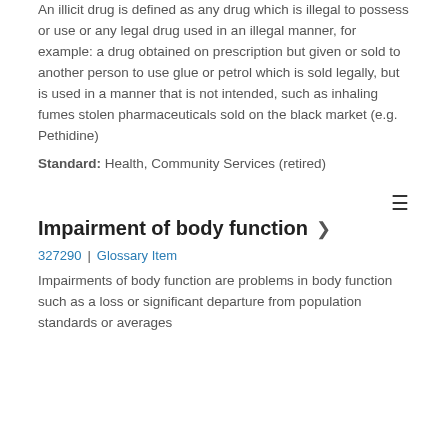An illicit drug is defined as any drug which is illegal to possess or use or any legal drug used in an illegal manner, for example: a drug obtained on prescription but given or sold to another person to use glue or petrol which is sold legally, but is used in a manner that is not intended, such as inhaling fumes stolen pharmaceuticals sold on the black market (e.g. Pethidine)
Standard: Health, Community Services (retired)
Impairment of body function
327290 | Glossary Item
Impairments of body function are problems in body function such as a loss or significant departure from population standards or averages